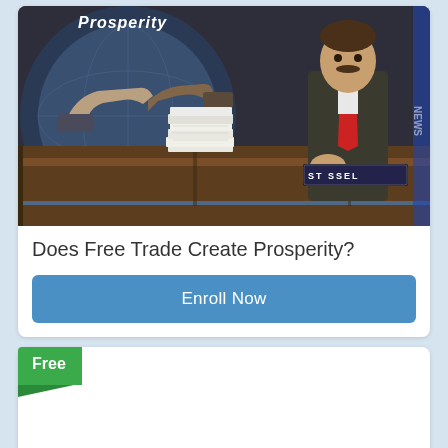[Figure (screenshot): TV news screenshot showing a news anchor (Stossel) standing at a desk with stacks of money, a blue globe with handshake graphic in background, and 'Prosperity' text overlay. Nameplate reads 'STOSSEL'.]
Does Free Trade Create Prosperity?
Enroll Now
Free